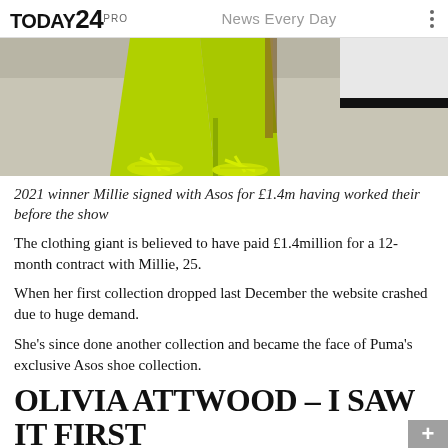TODAY24PRO  News Every Day
[Figure (photo): Lower body of a person wearing neon yellow-green wide-leg trousers and matching strappy sandals, standing on a light grey floor.]
2021 winner Millie signed with Asos for £1.4m having worked their before the show
The clothing giant is believed to have paid £1.4million for a 12-month contract with Millie, 25.
When her first collection dropped last December the website crashed due to huge demand.
She's since done another collection and became the face of Puma's exclusive Asos shoe collection.
OLIVIA ATTWOOD – I SAW IT FIRST